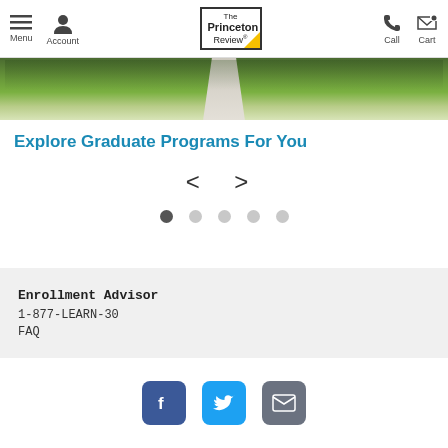The Princeton Review - Menu Account | Call Cart
[Figure (photo): Hero photo of a campus walkway with green lawns on both sides leading into the distance with trees]
Explore Graduate Programs For You
[Figure (other): Carousel navigation with left and right arrow brackets < > and five pagination dots, first dot active]
Enrollment Advisor
1-877-LEARN-30
FAQ
[Figure (other): Social media icons: Facebook (blue), Twitter (cyan), Email (gray)]